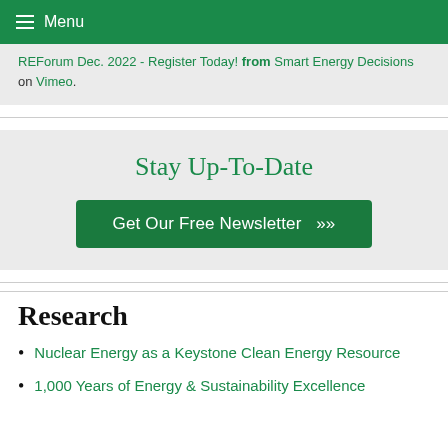Menu
REForum Dec. 2022 - Register Today! from Smart Energy Decisions on Vimeo.
Stay Up-To-Date
Get Our Free Newsletter »
Research
Nuclear Energy as a Keystone Clean Energy Resource
1,000 Years of Energy & Sustainability Excellence